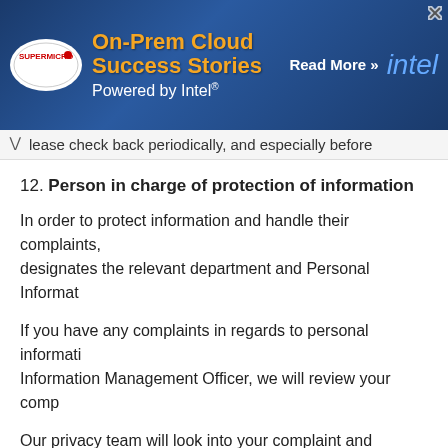[Figure (screenshot): Supermicro and Intel advertisement banner: 'On-Prem Cloud Success Stories Powered by Intel® Read More >>' with blue server background, Supermicro oval logo, and Intel logo]
please check back periodically, and especially before
12. Person in charge of protection of information
In order to protect information and handle their complaints, designates the relevant department and Personal Informat
If you have any complaints in regards to personal informati Information Management Officer, we will review your comp
Our privacy team will look into your complaint and provide to evaluate your complaint and we may ask you to provide complaint.
Email or to Compl